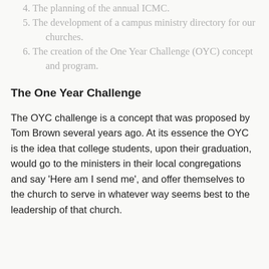4. The planning of the annual ICMC.
5. The development of a campus ministry directory for our churches.
6. The creation of the One Year Challenge (OYC) concept and program.
The One Year Challenge
The OYC challenge is a concept that was proposed by Tom Brown several years ago. At its essence the OYC is the idea that college students, upon their graduation, would go to the ministers in their local congregations and say 'Here am I send me', and offer themselves to the church to serve in whatever way seems best to the leadership of that church.